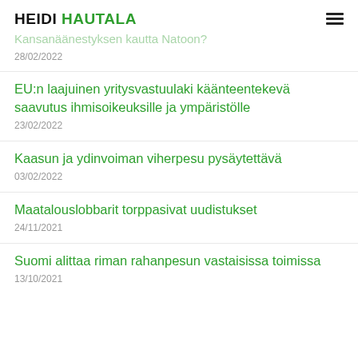HEIDI HAUTALA
Kansanäänestyksen kautta Natoon?
28/02/2022
EU:n laajuinen yritysvastuulaki käänteentekevä saavutus ihmisoikeuksille ja ympäristölle
23/02/2022
Kaasun ja ydinvoiman viherpesu pysäytettävä
03/02/2022
Maatalouslobbarit torppasivat uudistukset
24/11/2021
Suomi alittaa riman rahanpesun vastaisissa toimissa
13/10/2021